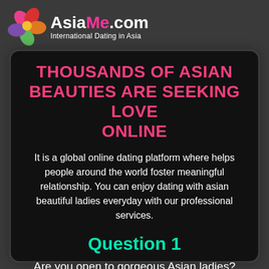[Figure (logo): AsiaMe.com logo with colorful flower icon and tagline 'International Dating in Asia']
THOUSANDS OF ASIAN BEAUTIES ARE SEEKING LOVE ONLINE
It is a global online dating platform where helps people around the world foster meaningful relationship. You can enjoy dating with asian beautiful ladies everyday with our professional services.
Question 1
Are you open to gorgeous Asian ladies?